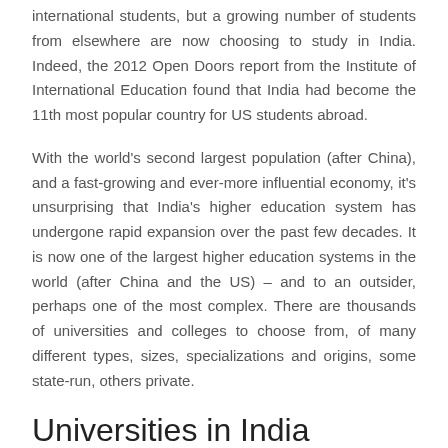international students, but a growing number of students from elsewhere are now choosing to study in India. Indeed, the 2012 Open Doors report from the Institute of International Education found that India had become the 11th most popular country for US students abroad.
With the world's second largest population (after China), and a fast-growing and ever-more influential economy, it's unsurprising that India's higher education system has undergone rapid expansion over the past few decades. It is now one of the largest higher education systems in the world (after China and the US) – and to an outsider, perhaps one of the most complex. There are thousands of universities and colleges to choose from, of many different types, sizes, specializations and origins, some state-run, others private.
Universities in India
India is especially well-known for the quality of its education in engineering and technology subjects, spearheaded by the prestigious and internationally recognized Indian Institutes of Technology (IITs). There are currently 16 of these, around the country, focusing mainly on engineering, technology and science disciplines. The highest-ranked IITs are based in Bombay, Delhi and